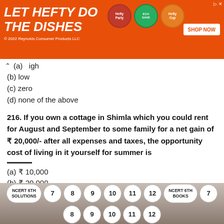[Figure (illustration): Orange advertisement banner for Hefty dish soap products with text 'LET HEFTY DO THE DISHES', product images, SHOP NOW button, and copyright notice '© 2022 Reynolds Consumer Products LLC']
(a) high
(b) low
(c) zero
(d) none of the above
216. If you own a cottage in Shimla which you could rent for August and September to some family for a net gain of ₹ 20,000/- after all expenses and taxes, the opportunity cost of living in it yourself for summer is
(a) ₹ 10,000
(b) ₹ 20,000
[Figure (screenshot): Bottom navigation bar with circular buttons: NCERT 6TH SOLUTIONS, 7, 8, 9, 10, 11, 12, NCERT 6TH BOOKS, 7, 8, 9, 10, 11, 12]